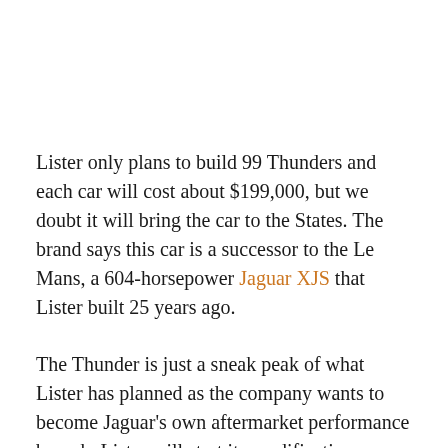Lister only plans to build 99 Thunders and each car will cost about $199,000, but we doubt it will bring the car to the States. The brand says this car is a successor to the Le Mans, a 604-horsepower Jaguar XJS that Lister built 25 years ago.
The Thunder is just a sneak peak of what Lister has planned as the company wants to become Jaguar's own aftermarket performance branch. Lister will start its modification catalog with a $28,293 carbon fiber aero kit that will be available for both the Thunder and factory F-Type.